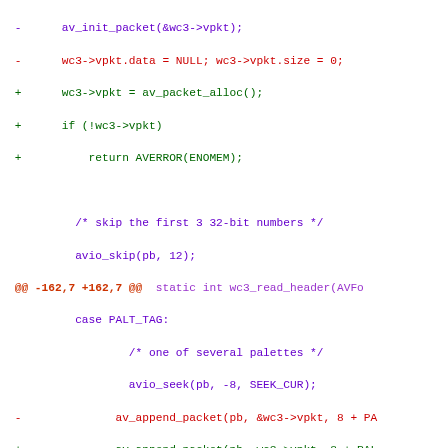[Figure (screenshot): Source code diff showing changes to a C file (wc3 demuxer), with removed lines in red, added lines in green, context lines in purple, and hunk headers in dark red/purple. The diff shows replacements of av_init_packet with av_packet_alloc, and changes to av_append_packet calls removing ampersand from &wc3->vpkt.]